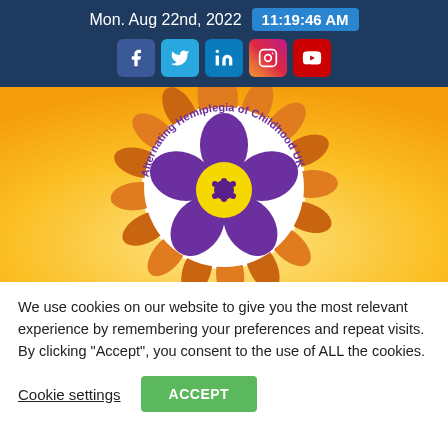Mon. Aug 22nd, 2022  11:19:46 AM
[Figure (logo): Alternating Hemiplegia of Childhood UK logo — a purple flower with yellow centre on a circular white background, surrounded by sunflower petals with a warm sky background.]
We use cookies on our website to give you the most relevant experience by remembering your preferences and repeat visits. By clicking “Accept”, you consent to the use of ALL the cookies.
Cookie settings  ACCEPT